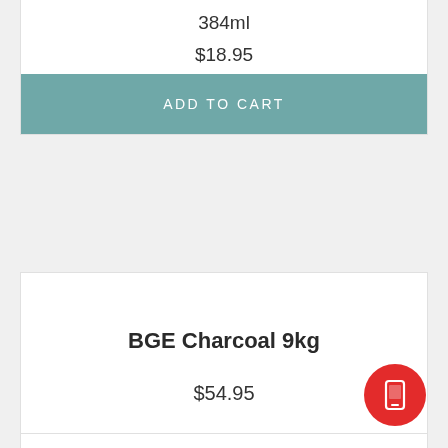384ml
$18.95
ADD TO CART
BGE Charcoal 9kg
$54.95
CALL FOR AVAILABILITY
[Figure (illustration): Red circular FAB button with white tablet/phone icon]